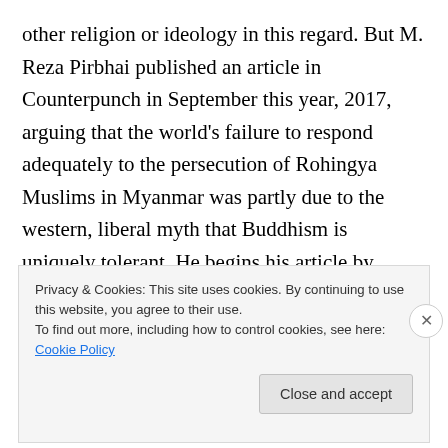other religion or ideology in this regard. But M. Reza Pirbhai published an article in Counterpunch in September this year, 2017, arguing that the world's failure to respond adequately to the persecution of Rohingya Muslims in Myanmar was partly due to the western, liberal myth that Buddhism is uniquely tolerant. He begins his article by arguing that the silence and reluctance to condemn the atrocities is partly due to western imperialist perceptions of Islam as uniquely evil. He then goes on to argue that the positive image Buddhism has as a uniquely tolerant religion was created in the 19th century by disaffected
Privacy & Cookies: This site uses cookies. By continuing to use this website, you agree to their use.
To find out more, including how to control cookies, see here: Cookie Policy
Close and accept